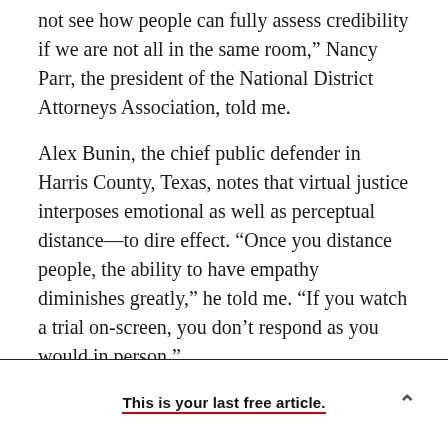not see how people can fully assess credibility if we are not all in the same room,” Nancy Parr, the president of the National District Attorneys Association, told me.
Alex Bunin, the chief public defender in Harris County, Texas, notes that virtual justice interposes emotional as well as perceptual distance—to dire effect. “Once you distance people, the ability to have empathy diminishes greatly,” he told me. “If you watch a trial on-screen, you don’t respond as you would in person.”
This is your last free article.